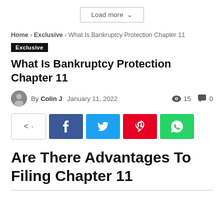Load more
Home › Exclusive › What Is Bankruptcy Protection Chapter 11
Exclusive
What Is Bankruptcy Protection Chapter 11
By Colin J  January 11, 2022  👁 15  💬 0
[Figure (other): Social share buttons: share toggle, Facebook, Twitter, Pinterest, WhatsApp]
Are There Advantages To Filing Chapter 11